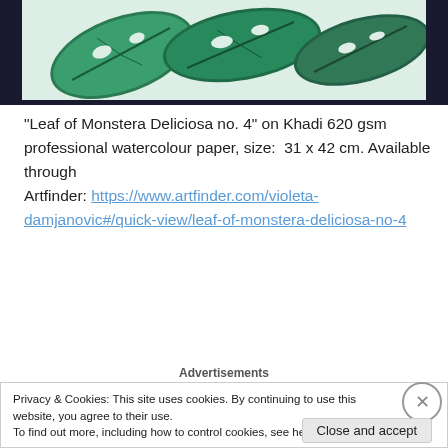[Figure (photo): Cropped top portion of a watercolour painting of Monstera Deliciosa leaves in shades of green on light paper, with dark border background]
“Leaf of Monstera Deliciosa no. 4” on Khadi 620 gsm professional watercolour paper, size:  31 x 42 cm. Available through Artfinder: https://www.artfinder.com/violeta-damjanovic#/quick-view/leaf-of-monstera-deliciosa-no-4
Advertisements
Privacy & Cookies: This site uses cookies. By continuing to use this website, you agree to their use.
To find out more, including how to control cookies, see here: Cookie Policy
Close and accept